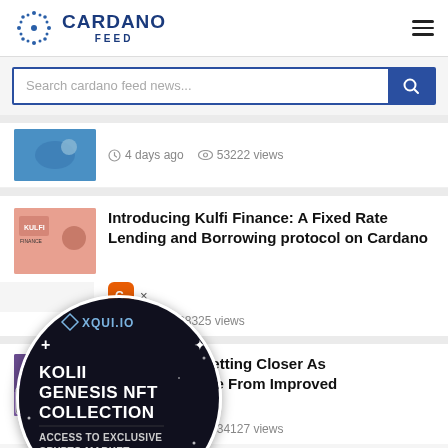CARDANO FEED
Search cardano feed news...
4 days ago  53222 views
Introducing Kulfi Finance: A Fixed Rate Lending and Borrowing protocol on Cardano
ago  38325 views
Hard Fork Is Getting Closer As ocks Now Come From Improved
6 days ago  34127 views
[Figure (screenshot): XQUI.IO KOLII GENESIS NFT COLLECTION - ACCESS TO EXCLUSIVE CRYPTO MARKET RESEARCH popup overlay]
C ×  XQUI.IO notification